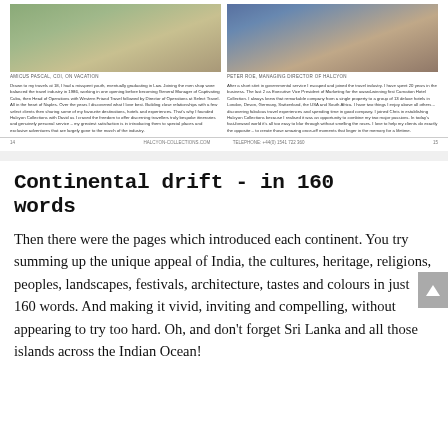[Figure (photo): Person riding a bicycle rickshaw on a rural road with trees in the background]
AMICUS PASCAL, COI, ON VACATION
Drawn to my travels at 18, I had a misspent youth, eventually graduating in Law. Joining the men shop wore balanced the travel industry in 1986, working in one opening before becoming General Manager of Captivating Cuba, then Head of Operations with Western Friand Travel followed by Director of Operations at Select Travel. All in the heart of Naples. Over the years I discovered what I love best. Building close relationships with a few select clients then sharing some of my favourite destinations, hotels and experiences. That's why I founded Halcyon Collections with David as I craved the freedom to offer discerning travellers truly bespoke itineraries and genuinely personal service – my greatest satisfaction is in introducing them to special places and exclusive adventures that are largely gone to the march of the industry.
[Figure (photo): Man standing next to a vintage blue train car]
PETER ROE, MANAGING DIRECTOR OF HALCYON
After a short stint in governmental service I escaped and joined the travel industry. I have spent 20 years in the business. The last 2 as Executive Vice President of Marketing for the award-winning first Carnation Hotel Collection. I always knew that remarkable company from a single property to a group of 13 deluxe hotels in London, Devon, Germany, Switzerland, the USA and South Africa. I have two things I enjoy above all others – discovering fabulous travel experiences and spending time in good company. I joined Chris in establishing Halcyon Collections because I realised it was an opportunity to combine my two major passions. In today's fast-forward world it's all too easy to blur through without smelling the roses. I love to help my clients do exactly the opposite – to create those amazing once-off moments that linger in the memory for a lifetime.
14   HALCYON-COLLECTIONS.COM   TELEPHONE: +44(0) 1541 722 360   15
Continental drift - in 160 words
Then there were the pages which introduced each continent. You try summing up the unique appeal of India, the cultures, heritage, religions, peoples, landscapes, festivals, architecture, tastes and colours in just 160 words. And making it vivid, inviting and compelling, without appearing to try too hard. Oh, and don't forget Sri Lanka and all those islands across the Indian Ocean!